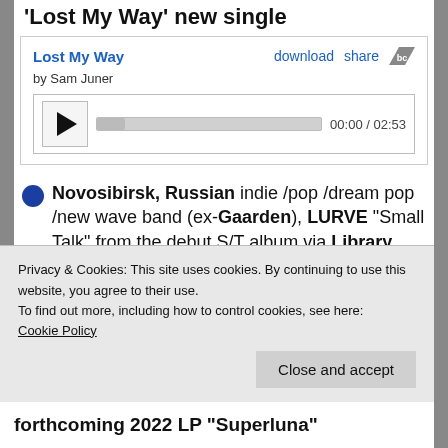'Lost My Way' new single
[Figure (screenshot): Bandcamp embedded audio player for 'Lost My Way' by Sam Juner. Shows title in blue, download and share links, play button, progress bar, and time 00:00 / 02:53.]
Novosibirsk, Russian indie /pop /dream pop /new wave band (ex-Gaarden), LURVE "Small Talk" from the debut S/T album via Library Group Records
[Figure (screenshot): Bandcamp embedded audio player for Lurve by Lurve. Shows title in blue, buy and share links.]
Privacy & Cookies: This site uses cookies. By continuing to use this website, you agree to their use. To find out more, including how to control cookies, see here: Cookie Policy
Close and accept
forthcoming 2022 LP "Superluna"